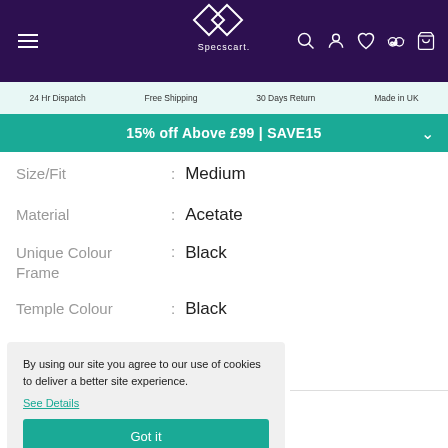Specscart — 24 Hr Dispatch | Free Shipping | 30 Days Return | Made in UK
15% off Above £99 | SAVE15
Size/Fit : Medium
Material : Acetate
Unique Colour Frame : Black
Temple Colour : Black
Lens-Bridge-Arm : 52-19-140
By using our site you agree to our use of cookies to deliver a better site experience.
See Details
Got it